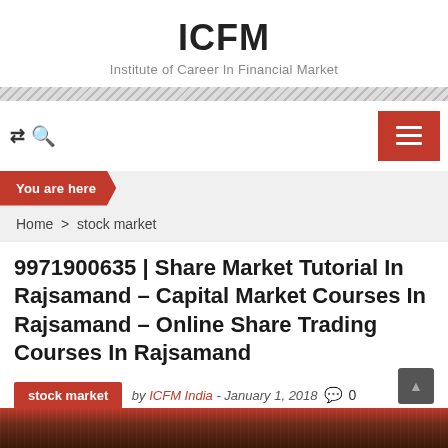ICFM
Institute of Career In Financial Market
You are here
Home > stock market
9971900635 | Share Market Tutorial In Rajsamand – Capital Market Courses In Rajsamand – Online Share Trading Courses In Rajsamand
stock market  by ICFM India - January 1, 2018  0